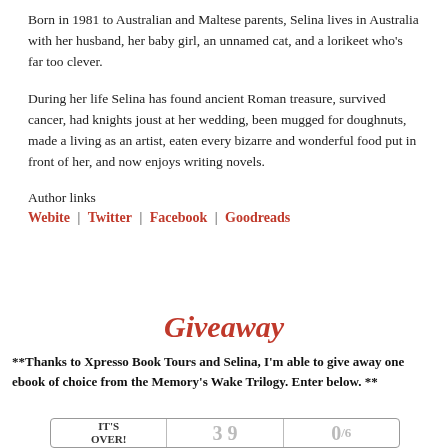Born in 1981 to Australian and Maltese parents, Selina lives in Australia with her husband, her baby girl, an unnamed cat, and a lorikeet who's far too clever.
During her life Selina has found ancient Roman treasure, survived cancer, had knights joust at her wedding, been mugged for doughnuts, made a living as an artist, eaten every bizarre and wonderful food put in front of her, and now enjoys writing novels.
Author links
Webite | Twitter | Facebook | Goodreads
Giveaway
**Thanks to Xpresso Book Tours and Selina, I'm able to give away one ebook of choice from the Memory's Wake Trilogy. Enter below. **
| IT'S OVER! | 3 9 | 0/6 |
| --- | --- | --- |